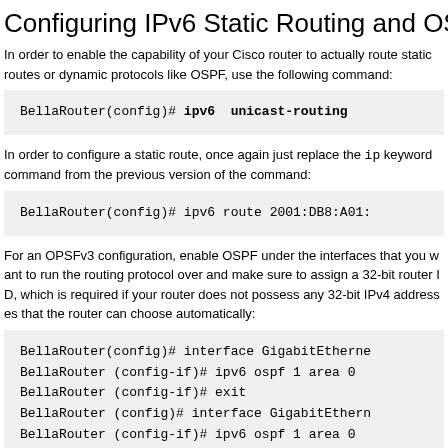Configuring IPv6 Static Routing and OSPF
In order to enable the capability of your Cisco router to actually route static routes or dynamic protocols like OSPF, use the following command:
BellaRouter(config)# ipv6  unicast-routing
In order to configure a static route, once again just replace the ip keyword from the command from the previous version of the command:
BellaRouter(config)# ipv6 route 2001:DB8:A01:
For an OPSFv3 configuration, enable OSPF under the interfaces that you want to run the routing protocol over and make sure to assign a 32-bit router ID, which is required if your router does not possess any 32-bit IPv4 addresses that the router can choose automatically:
BellaRouter(config)# interface GigabitEtherne
BellaRouter (config-if)# ipv6 ospf 1 area 0
BellaRouter (config-if)# exit
BellaRouter (config)# interface GigabitEthern
BellaRouter (config-if)# ipv6 ospf 1 area 0
BellaRouter (config-if)# exit
BellaRouter (config)# ipv6 router ospf 1
BellaRouter (config-rtr)# router-id 0.0.0.1